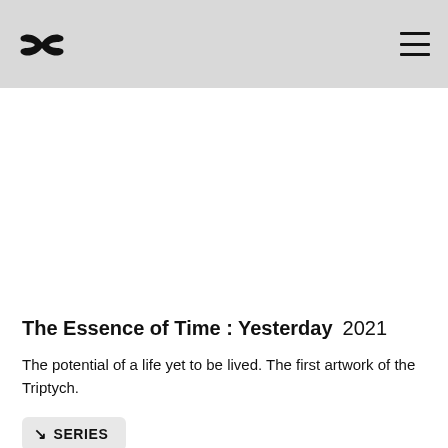butterfly logo and hamburger menu
[Figure (illustration): White blank area representing an artwork image placeholder]
The Essence of Time : Yesterday  2021
The potential of a life yet to be lived. The first artwork of the Triptych.
SERIES